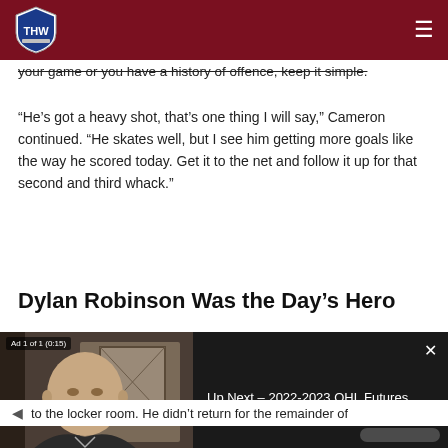THW (The Hockey Writers) navigation bar
your game or you have a history of offence, keep it simple.
“He’s got a heavy shot, that’s one thing I will say,” Cameron continued. “He skates well, but I see him getting more goals like the way he scored today. Get it to the net and follow it up for that second and third whack.”
Dylan Robinson Was the Day’s Hero
[Figure (screenshot): Embedded video player showing a man speaking on camera. Ad 1 of 1 (0:15) label visible. Right side shows 'Up Next – 2022-2023 OHL Futures Watch – Owen Sound Attack' text on dark background with a close (X) button.]
to the locker room. He didn’t return for the remainder of